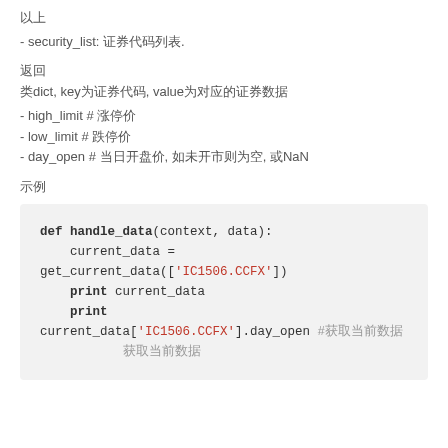以上
- security_list: 证券代码列表.
返回
类dict, key为证券代码, value为对应的证券数据
- high_limit # 涨停价
- low_limit # 跌停价
- day_open # 当日开盘价, 如未开市则为空, 或NaN
示例
[Figure (screenshot): Python code block showing def handle_data(context, data): current_data = get_current_data(['IC1506.CCFX'])  print current_data  print current_data['IC1506.CCFX'].day_open #获取当前数据 获取当前数据]